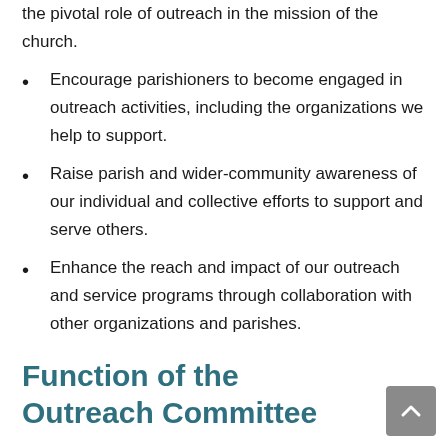the pivotal role of outreach in the mission of the church.
Encourage parishioners to become engaged in outreach activities, including the organizations we help to support.
Raise parish and wider-community awareness of our individual and collective efforts to support and serve others.
Enhance the reach and impact of our outreach and service programs through collaboration with other organizations and parishes.
Function of the Outreach Committee